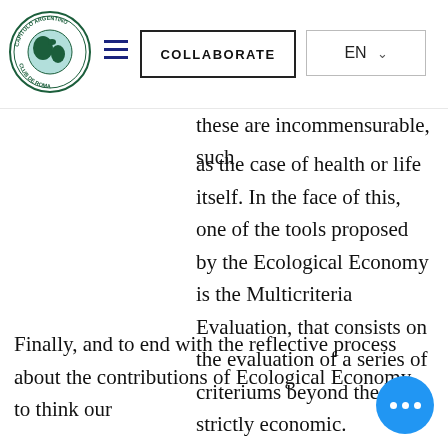[Figure (logo): Capítulo Argentino Club de Roma circular globe logo with green and dark blue colors]
COLLABORATE | EN
...these are incommensurable, such as the case of health or life itself. In the face of this, one of the tools proposed by the Ecological Economy is the Multicriteria Evaluation, that consists on the evaluation of a series of criteriums beyond the strictly economic.
Finally, and to end with the reflective process about the contributions of Ecological Economy to think our